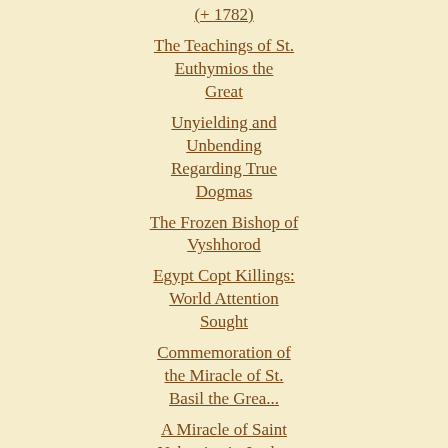(+ 1782)
The Teachings of St. Euthymios the Great
Unyielding and Unbending Regarding True Dogmas
The Frozen Bishop of Vyshhorod
Egypt Copt Killings: World Attention Sought
Commemoration of the Miracle of St. Basil the Grea...
A Miracle of Saint Nektarios in Jordan
► 2009 (709)
EROTAPOKRISEIS
Questions and Answers 198 - 203